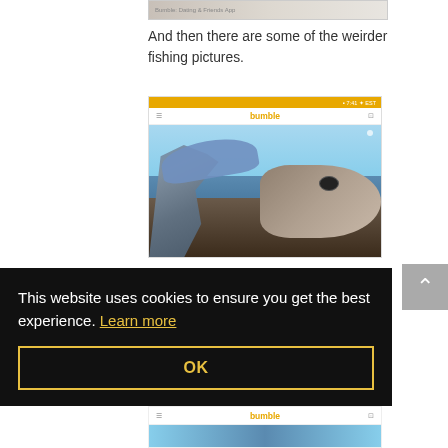[Figure (screenshot): Partial top screenshot of a mobile app, cropped at top]
And then there are some of the weirder fishing pictures.
[Figure (screenshot): Bumble dating app screenshot showing a photo of a woman kissing a large fish (shark-like) while on a boat, with blue sky and water in background. App UI shows orange status bar, Bumble logo in orange text on white nav bar.]
This website uses cookies to ensure you get the best experience. Learn more
OK
[Figure (screenshot): Bottom of another Bumble app screenshot, just showing the nav bar and top of a photo]